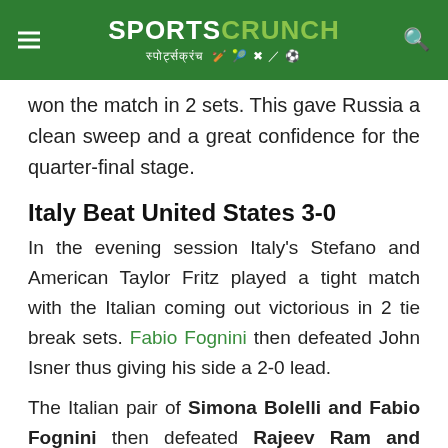SPORTS CRUNCH स्पोर्ट्सक्रंच
won the match in 2 sets. This gave Russia a clean sweep and a great confidence for the quarter-final stage.
Italy Beat United States 3-0
In the evening session Italy's Stefano and American Taylor Fritz played a tight match with the Italian coming out victorious in 2 tie break sets. Fabio Fognini then defeated John Isner thus giving his side a 2-0 lead.
The Italian pair of Simona Bolelli and Fabio Fognini then defeated Rajeev Ram and Austin